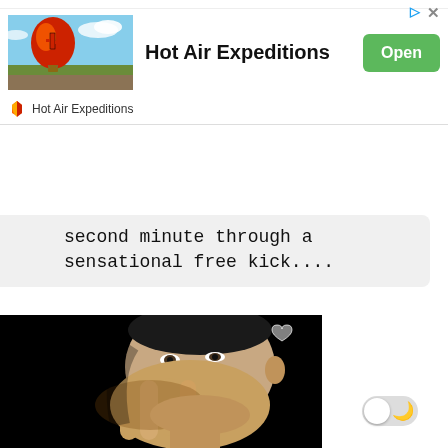[Figure (screenshot): Hot Air Expeditions advertisement banner with hot air balloon image, app title, Open button, and app icon row]
second minute through a sensational free kick....
[Figure (photo): Close-up photo of a man covering his mouth with his hand against a dark background]
[Figure (screenshot): Dark mode toggle switch (off position) with moon icon]